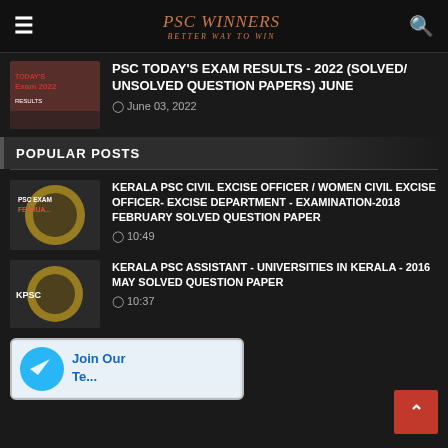PSC WINNERS — BETTER WAY TO WIN
PSC TODAY'S EXAM RESULTS - 2022 (SOLVED/UNSOLVED QUESTION PAPERS) JUNE
June 03, 2022
POPULAR POSTS
KERALA PSC CIVIL EXCISE OFFICER / WOMEN CIVIL EXCISE OFFICER- EXCISE DEPARTMENT - EXAMINATION-2018 FEBRUARY SOLVED QUESTION PAPER
10:49
KERALA PSC ASSISTANT - UNIVERSITIES IN KERALA - 2016 MAY SOLVED QUESTION PAPER
10:37
[Figure (screenshot): Telegram Join Our Telegram banner image]